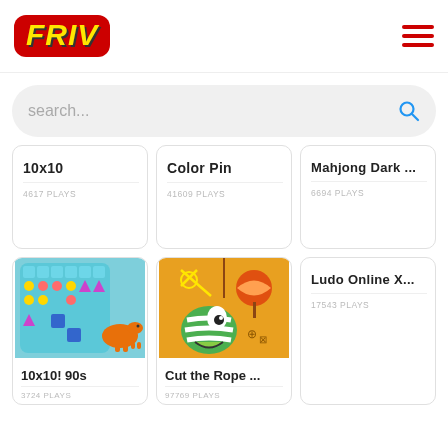[Figure (logo): FRIV logo in yellow italic bold text on red rounded background]
search...
10x10
4617 PLAYS
Color Pin
41609 PLAYS
Mahjong Dark ...
6694 PLAYS
[Figure (screenshot): 10x10! 90s game thumbnail — colorful grid puzzle with dinosaur]
10x10! 90s
3724 PLAYS
[Figure (screenshot): Cut the Rope game thumbnail — green monster on orange background]
Cut the Rope ...
97769 PLAYS
Ludo Online X...
17543 PLAYS